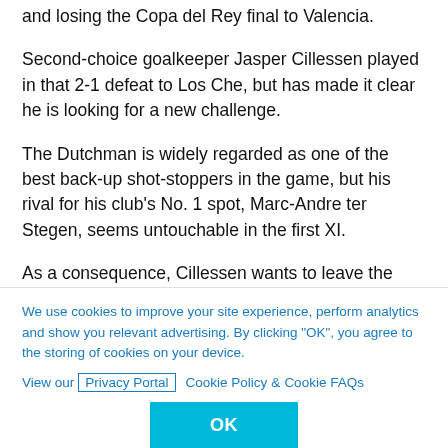and losing the Copa del Rey final to Valencia.
Second-choice goalkeeper Jasper Cillessen played in that 2-1 defeat to Los Che, but has made it clear he is looking for a new challenge.
The Dutchman is widely regarded as one of the best back-up shot-stoppers in the game, but his rival for his club's No. 1 spot, Marc-Andre ter Stegen, seems untouchable in the first XI.
As a consequence, Cillessen wants to leave the club, and has reportedly received a verbal promise from
We use cookies to improve your site experience, perform analytics and show you relevant advertising. By clicking "OK", you agree to the storing of cookies on your device. View our Privacy Portal Cookie Policy & Cookie FAQs